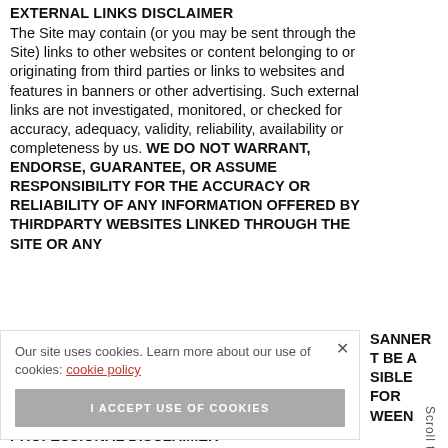EXTERNAL LINKS DISCLAIMER
The Site may contain (or you may be sent through the Site) links to other websites or content belonging to or originating from third parties or links to websites and features in banners or other advertising. Such external links are not investigated, monitored, or checked for accuracy, adequacy, validity, reliability, availability or completeness by us. WE DO NOT WARRANT, ENDORSE, GUARANTEE, OR ASSUME RESPONSIBILITY FOR THE ACCURACY OR RELIABILITY OF ANY INFORMATION OFFERED BY THIRDPARTY WEBSITES LINKED THROUGH THE SITE OR ANY BANNER NT BE A SIBLE FOR WEEN
Our site uses cookies. Learn more about our use of cookies: cookie policy
I ACCEPT USE OF COOKIES
Scroll to Top
PROFESSIONAL DISCLAIMER